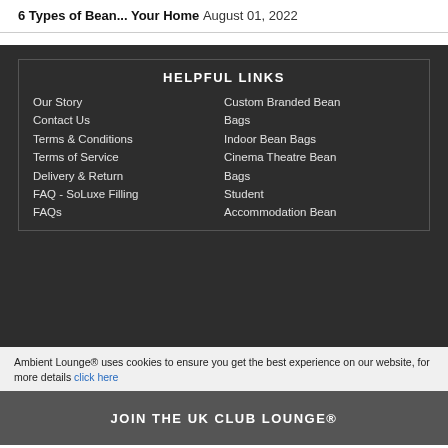6 Types of Bean... Your Home August 01, 2022
HELPFUL LINKS
Our Story
Contact Us
Terms & Conditions
Terms of Service
Delivery & Return
FAQ - SoLuxe Filling
FAQs
Custom Branded Bean Bags
Indoor Bean Bags
Cinema Theatre Bean Bags
Student
Accommodation Bean
Ambient Lounge® uses cookies to ensure you get the best experience on our website, for more details click here
JOIN THE UK CLUB LOUNGE®